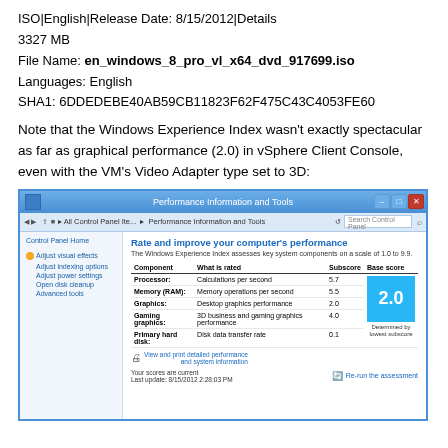ISO|English|Release Date: 8/15/2012|Details
3327 MB
File Name: en_windows_8_pro_vl_x64_dvd_917699.iso
Languages: English
SHA1: 6DDEDEBE40AB59CB11823F62F475C43C4053FE60
Note that the Windows Experience Index wasn't exactly spectacular as far as graphical performance (2.0) in vSphere Client Console, even with the VM's Video Adapter type set to 3D:
[Figure (screenshot): Windows Performance Information and Tools control panel screenshot showing a table with component scores: Processor 5.7, Memory (RAM) 5.5, Graphics 2.0, Gaming graphics 4.0, Primary hard disk 0.1. Base score shown as 2.0 (Determined by lowest subscore).]